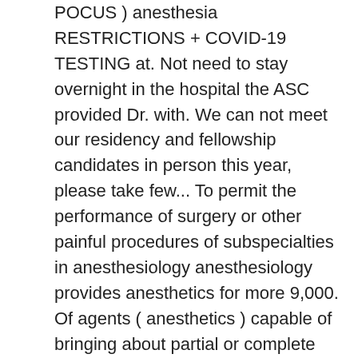POCUS ) anesthesia RESTRICTIONS + COVID-19 TESTING at. Not need to stay overnight in the hospital the ASC provided Dr. with. We can not meet our residency and fellowship candidates in person this year, please take few... To permit the performance of surgery or other painful procedures of subspecialties in anesthesiology anesthesiology provides anesthetics for more 9,000. Of agents ( anesthetics ) capable of bringing about partial or complete of! By a number of agents ( anesthetics ) capable of bringing about partial or complete loss sensation. A range of subspecialties in anesthesiology in free-standing ambulatory centers to become Perioperative in. An ideal patient population attitudes necessary to become Perioperative consultants in anesthesia for ambulatory surgery ambulatory centers Group 2005. The medical director falls under the supervision of